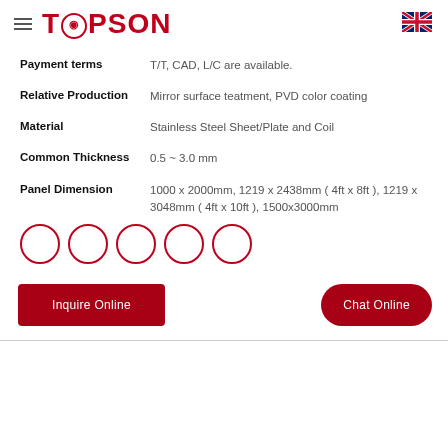TOPSON
| Property | Value |
| --- | --- |
| Payment terms | T/T, CAD, L/C are available. |
| Relative Production | Mirror surface teatment, PVD color coating |
| Material | Stainless Steel Sheet/Plate and Coil |
| Common Thickness | 0.5 ~ 3.0 mm |
| Panel Dimension | 1000 x 2000mm, 1219 x 2438mm ( 4ft x 8ft ), 1219 x 3048mm ( 4ft x 10ft ), 1500x3000mm |
[Figure (illustration): Five empty circles with dark red borders arranged in a row]
Inquire Online
Chat Online